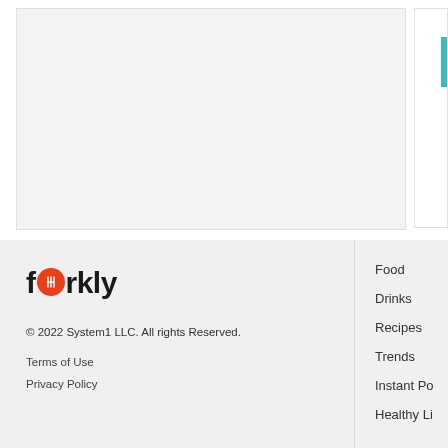[Figure (other): Large light gray placeholder/ad panel on the left side of the top area]
[Figure (other): Narrow sidebar panel on the right with a teal/turquoise vertical accent bar]
[Figure (logo): Forkly logo with fork icon replacing the 'o', bold black text]
© 2022 System1 LLC. All rights Reserved.
Terms of Use
Privacy Policy
Food
Drinks
Recipes
Trends
Instant Po
Healthy Li